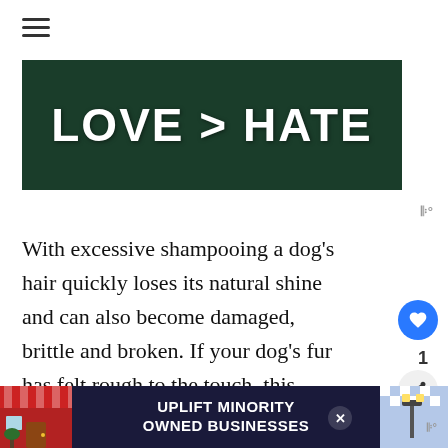[Figure (illustration): Hamburger menu icon (three horizontal lines)]
[Figure (photo): Dark green background image with bold white text reading LOVE > HATE]
With excessive shampooing a dog's hair quickly loses its natural shine and can also become damaged, brittle and broken. If your dog's fur has felt rough to the touch, this could
[Figure (infographic): What's Next widget: thumbnail of a dog with text 'WHAT'S NEXT → Are You Considering ...']
[Figure (infographic): Advertisement banner: UPLIFT MINORITY OWNED BUSINESSES with store graphic]